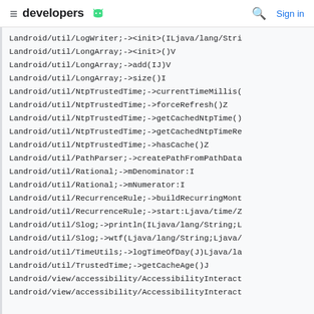≡ developers 🤖  🔍 Sign in
Landroid/util/LogWriter;-><init>(ILjava/lang/Stri
Landroid/util/LongArray;-><init>()V
Landroid/util/LongArray;->add(IJ)V
Landroid/util/LongArray;->size()I
Landroid/util/NtpTrustedTime;->currentTimeMillis(
Landroid/util/NtpTrustedTime;->forceRefresh()Z
Landroid/util/NtpTrustedTime;->getCachedNtpTime()
Landroid/util/NtpTrustedTime;->getCachedNtpTimeRe
Landroid/util/NtpTrustedTime;->hasCache()Z
Landroid/util/PathParser;->createPathFromPathData
Landroid/util/Rational;->mDenominator:I
Landroid/util/Rational;->mNumerator:I
Landroid/util/RecurrenceRule;->buildRecurringMont
Landroid/util/RecurrenceRule;->start:Ljava/time/Z
Landroid/util/Slog;->println(ILjava/lang/String;L
Landroid/util/Slog;->wtf(Ljava/lang/String;Ljava/
Landroid/util/TimeUtils;->logTimeOfDay(J)Ljava/la
Landroid/util/TrustedTime;->getCacheAge()J
Landroid/view/accessibility/AccessibilityInteract
Landroid/view/accessibility/AccessibilityInteract